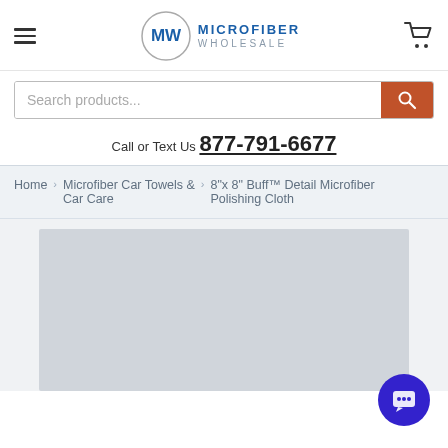[Figure (logo): Microfiber Wholesale logo with circle MW emblem and text MICROFIBER WHOLESALE]
[Figure (screenshot): Search bar with placeholder text 'Search products...' and orange search button]
Call or Text Us 877-791-6677
Home > Microfiber Car Towels & Car Care > 8"x 8" Buff™ Detail Microfiber Polishing Cloth
[Figure (photo): Product image placeholder area (light gray rectangle)]